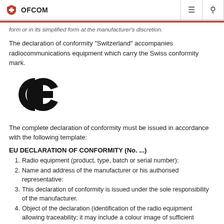OFCOM
form or in its simplified form at the manufacturer's discretion.
The declaration of conformity "Switzerland" accompanies radiocommunications equipment which carry the Swiss conformity mark.
[Figure (logo): CE mark logo — large bold CE letters]
The complete declaration of conformity must be issued in accordance with the following template:
EU DECLARATION OF CONFORMITY (No. ...)
Radio equipment (product, type, batch or serial number):
Name and address of the manufacturer or his authorised representative:
This declaration of conformity is issued under the sole responsibility of the manufacturer.
Object of the declaration (identification of the radio equipment allowing traceability; it may include a colour image of sufficient